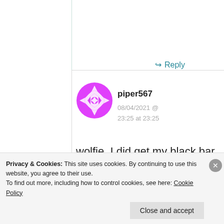↳ Reply
[Figure (illustration): Magenta/pink geometric patterned circular avatar for user piper567]
piper567
08/04/2021 @ 23:25 at 23:25
wolfie, I did get my black bar and bell back, but
Privacy & Cookies: This site uses cookies. By continuing to use this website, you agree to their use.
To find out more, including how to control cookies, see here: Cookie Policy
Close and accept